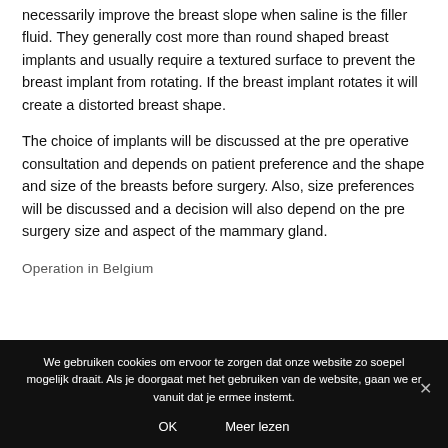necessarily improve the breast slope when saline is the filler fluid. They generally cost more than round shaped breast implants and usually require a textured surface to prevent the breast implant from rotating. If the breast implant rotates it will create a distorted breast shape.
The choice of implants will be discussed at the pre operative consultation and depends on patient preference and the shape and size of the breasts before surgery. Also, size preferences will be discussed and a decision will also depend on the pre surgery size and aspect of the mammary gland.
Operation in Belgium
We gebruiken cookies om ervoor te zorgen dat onze website zo soepel mogelijk draait. Als je doorgaat met het gebruiken van de website, gaan we er vanuit dat je ermee instemt.
OK   Meer lezen